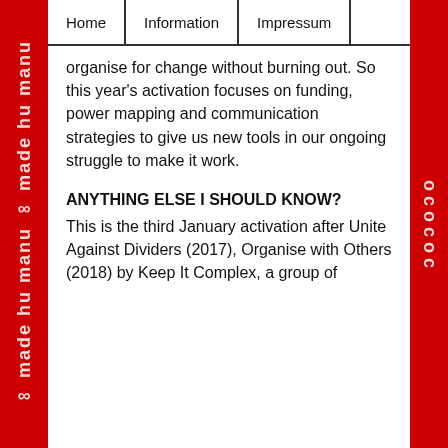Home | Information | Impressum
organise for change without burning out. So this year's activation focuses on funding, power mapping and communication strategies to give us new tools in our ongoing struggle to make it work.
ANYTHING ELSE I SHOULD KNOW?
This is the third January activation after Unite Against Dividers (2017), Organise with Others (2018) by Keep It Complex, a group of